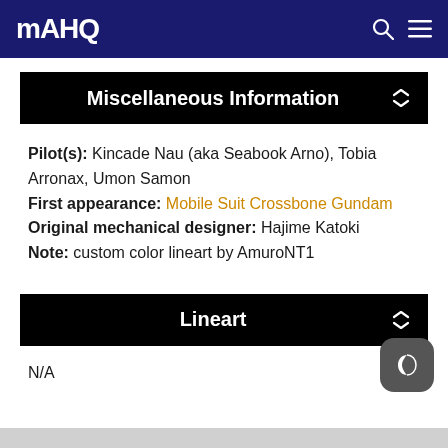MAHQ
Miscellaneous Information
Pilot(s): Kincade Nau (aka Seabook Arno), Tobia Arronax, Umon Samon
First appearance: Mobile Suit Crossbone Gundam
Original mechanical designer: Hajime Katoki
Note: custom color lineart by AmuroNT1
Lineart
N/A